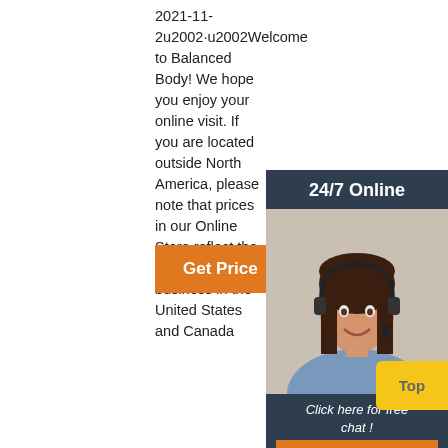2021-11-2u2002·u2002Welcome to Balanced Body! We hope you enjoy your online visit. If you are located outside North America, please note that prices in our Online Store reflect the cost of doing business in the United States and Canada
[Figure (other): Orange 'Get Price' button]
[Figure (other): Dark sidebar with '24/7 Online' header, photo of a smiling woman with headset, 'Click here for free chat!' text, and orange QUOTATION button]
[Figure (photo): Gym photo collage showing people exercising - sit-ups with gym balls in left panel, person doing squats at desk in right panel, and partial lower strip of fitness images]
[Figure (other): Yellow 'Top' button in lower right corner]